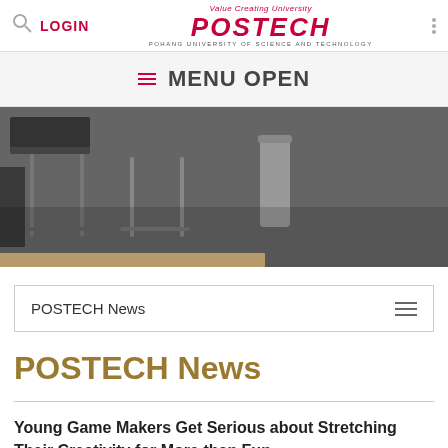LOGIN | POSTECH - Value Creating University - POHANG UNIVERSITY OF SCIENCE AND TECHNOLOGY
≡ MENU OPEN
[Figure (photo): Photo of chairs and carpet in a university room, with a gold/tan horizontal bar at the bottom left]
POSTECH News
POSTECH News
Young Game Makers Get Serious about Stretching Their Creativity for More than Fun
2016-09-06   746